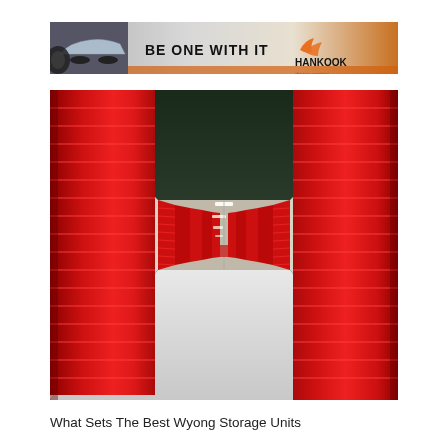[Figure (photo): Hankook Tires advertisement banner: left side shows a silver sports car with a large tire visible, center has text 'BE ONE WITH IT' in bold black, right side shows Hankook logo with orange wing symbol and tagline 'driving emotion'. Background has a silver-to-orange gradient.]
[Figure (photo): Interior of a self-storage facility hallway showing rows of red corrugated metal roll-up storage unit doors on both sides, with fluorescent lighting on a dark ceiling and a white epoxy floor creating a long vanishing-point perspective corridor.]
What Sets The Best Wyong Storage Units